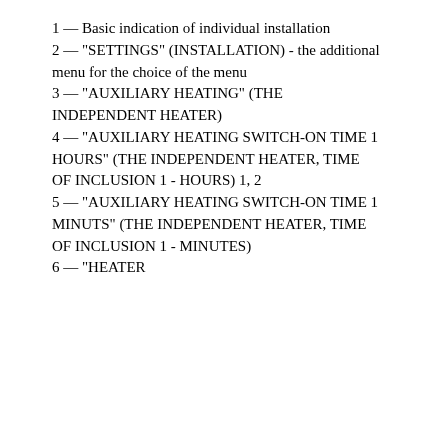1 — Basic indication of individual installation
2 — "SETTINGS" (INSTALLATION) - the additional menu for the choice of the menu
3 — "AUXILIARY HEATING" (THE INDEPENDENT HEATER)
4 — "AUXILIARY HEATING SWITCH-ON TIME 1 HOURS" (THE INDEPENDENT HEATER, TIME OF INCLUSION 1 - HOURS) 1, 2
5 — "AUXILIARY HEATING SWITCH-ON TIME 1 MINUTS" (THE INDEPENDENT HEATER, TIME OF INCLUSION 1 - MINUTES)
6 — "HEATER